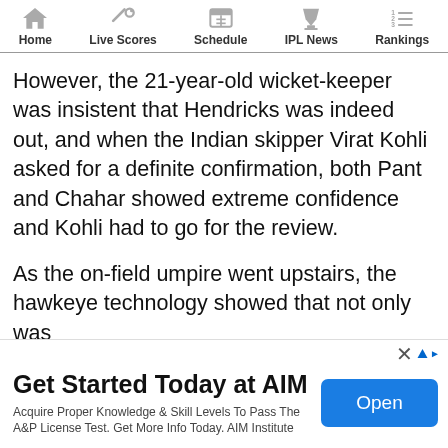Home | Live Scores | Schedule | IPL News | Rankings
However, the 21-year-old wicket-keeper was insistent that Hendricks was indeed out, and when the Indian skipper Virat Kohli asked for a definite confirmation, both Pant and Chahar showed extreme confidence and Kohli had to go for the review.
As the on-field umpire went upstairs, the hawkeye technology showed that not only was
[Figure (screenshot): Advertisement banner: 'Get Started Today at AIM' with Open button. Text: Acquire Proper Knowledge & Skill Levels To Pass The A&P License Test. Get More Info Today. AIM Institute]